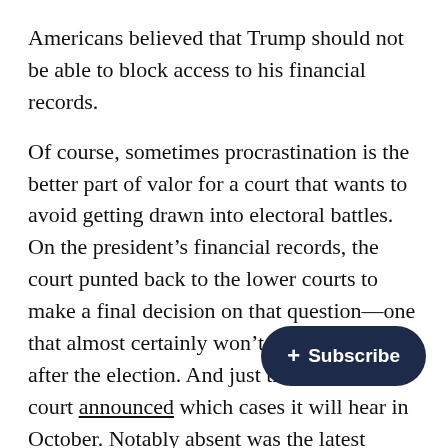Americans believed that Trump should not be able to block access to his financial records.
Of course, sometimes procrastination is the better part of valor for a court that wants to avoid getting drawn into electoral battles. On the president’s financial records, the court punted back to the lower courts to make a final decision on that question—one that almost certainly won’t be resolved until after the election. And just this week, the court announced which cases it will hear in October. Notably absent was the latest challenge to the Affordable Care Act. The earliest it can now be heard is November 2—the day before the election.
But there’s one thing Supreme Cour… agree on. “This term, in my mind, solidifies a new era of